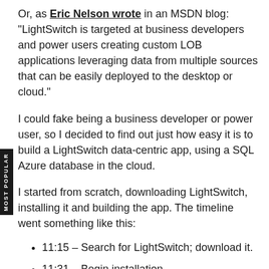Or, as Eric Nelson wrote in an MSDN blog: "LightSwitch is targeted at business developers and power users creating custom LOB applications leveraging data from multiple sources that can be easily deployed to the desktop or cloud."
I could fake being a business developer or power user, so I decided to find out just how easy it is to build a LightSwitch data-centric app, using a SQL Azure database in the cloud.
I started from scratch, downloading LightSwitch, installing it and building the app. The timeline went something like this:
11:15 – Search for LightSwitch; download it.
11:31 – Begin installation.
11:47 – Setup Complete, Thank You For Installing,